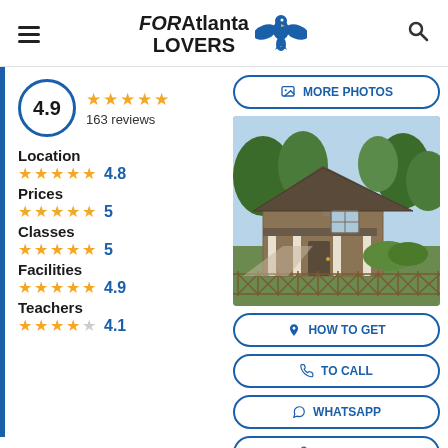FORAtlanta LOVERS
4.9 ★★★★★ 163 reviews
Location ★★★★★ 4.8
Prices ★★★★★ 5
Classes ★★★★★ 5
Facilities ★★★★★ 4.9
Teachers ★★★★☆ 4.1
[Figure (photo): Craftsman-style house with front porch and landscaping]
MORE PHOTOS
HOW TO GET
TO CALL
WHATSAPP
WEB PAGE